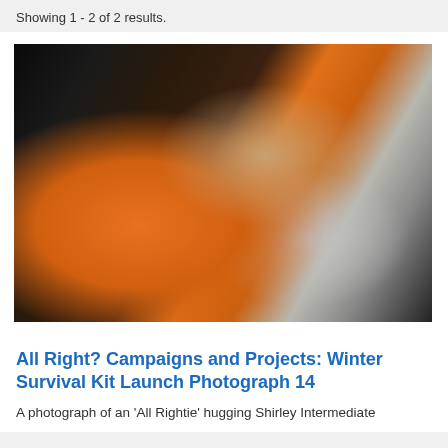Showing 1 - 2 of 2 results.
[Figure (photo): A photograph of a man in glasses and dark jacket hugging a person in an orange top, holding a blue item, taken from a low angle.]
All Right? Campaigns and Projects: Winter Survival Kit Launch Photograph 14
A photograph of an 'All Rightie' hugging Shirley Intermediate